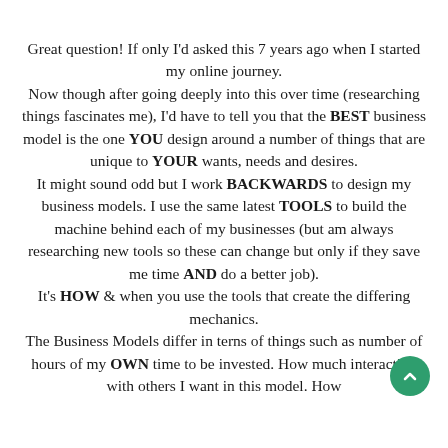Great question! If only I'd asked this 7 years ago when I started my online journey.
Now though after going deeply into this over time (researching things fascinates me), I'd have to tell you that the BEST business model is the one YOU design around a number of things that are unique to YOUR wants, needs and desires.
It might sound odd but I work BACKWARDS to design my business models. I use the same latest TOOLS to build the machine behind each of my businesses (but am always researching new tools so these can change but only if they save me time AND do a better job).
It's HOW & when you use the tools that create the differing mechanics.
The Business Models differ in terns of things such as number of hours of my OWN time to be invested. How much interaction with others I want in this model. How